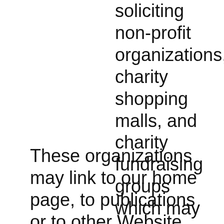soliciting non-profit organizations, charity shopping malls, and charity fundraising groups which may not hyperlink to our Web site.
These organizations may link to our home page, to publications or to other Website information so long as the link: (a) is not in any way deceptive; (b) does not falsely imply sponsorship...